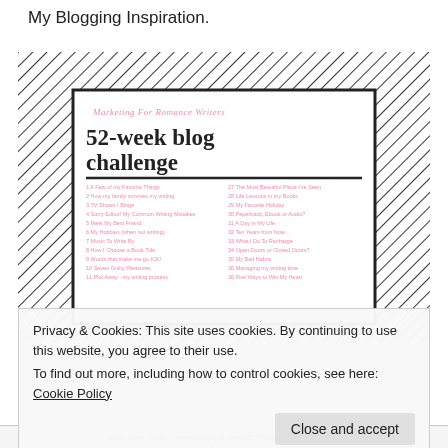My Blogging Inspiration.
[Figure (illustration): Screenshot of Marketing For Romance Writers 52-week blog challenge graphic on a hatched/diagonal-stripe background, showing a white card with the challenge title and a numbered list of 36 blog topics in two columns in pink text.]
Privacy & Cookies: This site uses cookies. By continuing to use this website, you agree to their use.
To find out more, including how to control cookies, see here: Cookie Policy
Close and accept
Learn More at http://mfrwa.blogspot.com/2017/01/2017blogchallenge...